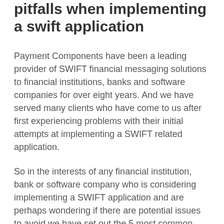pitfalls when implementing a swift application
Payment Components have been a leading provider of SWIFT financial messaging solutions to financial institutions, banks and software companies for over eight years. And we have served many clients who have come to us after first experiencing problems with their initial attempts at implementing a SWIFT related application.
So in the interests of any financial institution, bank or software company who is considering implementing a SWIFT application and are perhaps wondering if there are potential issues to avoid we have set out the 5 most common problems when implementing a